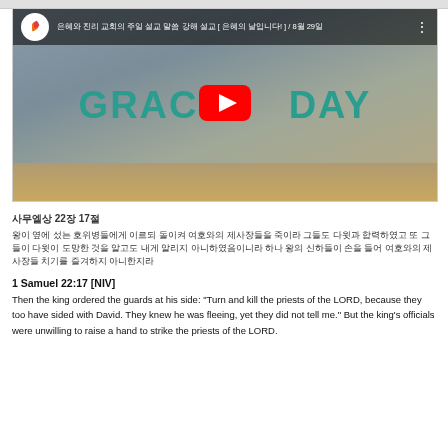[Figure (screenshot): YouTube video thumbnail showing 'GRACE DAY' text in teal on a blurred background with a red YouTube play button in the center. Channel icon visible in top-left with Korean title text and date '8월 29일'.]
사무엘상 22장 17절
왕이 옆에 섰는 호위병들에게 이르되 돌이켜 여호와의 제사장들을 죽이라 그들도 다윗과 합력하였고 또 그들이 다윗이 도망한 것을 알고도 내게 알리지 아니하였음이니라 하나 왕의 신하들이 손을 들어 여호와의 제사장들 치기를 즐겨하지 아니한지라
1 Samuel 22:17 [NIV]
Then the king ordered the guards at his side: "Turn and kill the priests of the LORD, because they too have sided with David. They knew he was fleeing, yet they did not tell me." But the king's officials were unwilling to raise a hand to strike the priests of the LORD.